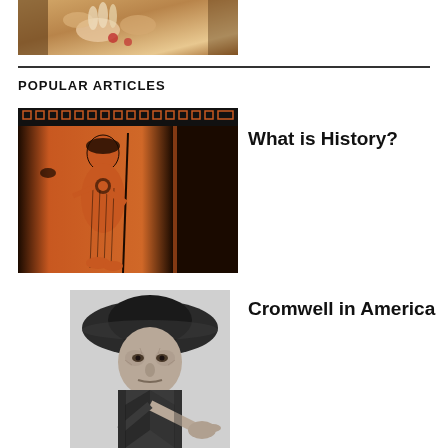[Figure (photo): Partial view of a painting showing hands and fabric, cropped at top of page]
POPULAR ARTICLES
[Figure (photo): Greek red-figure pottery depicting a female figure holding a spear, with decorative border at top]
What is History?
[Figure (photo): Black and white photograph of an older man wearing a wide-brimmed hat, pointing toward camera]
Cromwell in America